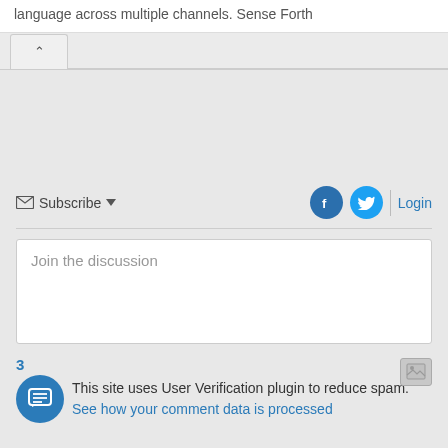language across multiple channels. Sense Forth
Subscribe  Login
Join the discussion
3
This site uses User Verification plugin to reduce spam. See how your comment data is processed